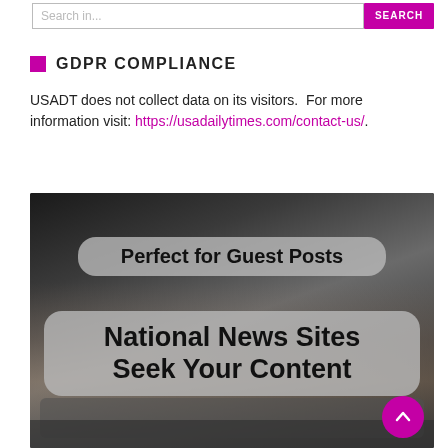Search... [SEARCH button]
GDPR COMPLIANCE
USADT does not collect data on its visitors.  For more information visit: https://usadailytimes.com/contact-us/.
[Figure (photo): Photo of hands typing on a laptop keyboard (dark background) with two overlaid text banners: 'Perfect for Guest Posts' and 'National News Sites Seek Your Content'. A magenta scroll-to-top button is in the bottom right corner.]